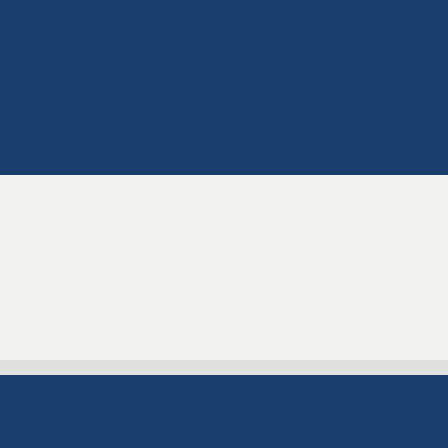[Figure (photo): Dark navy blue image block at the top of the page]
CASE STUDIES
Army – LAND 154 seamless integration with capability design
01 DEC 2019
READ ARTICLE
[Figure (photo): Dark navy blue image block at the bottom of the page]